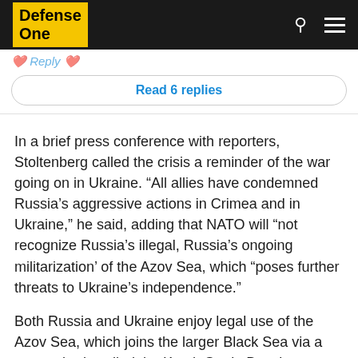Defense One
Read 6 replies
In a brief press conference with reporters, Stoltenberg called the crisis a reminder of the war going on in Ukraine. “All allies have condemned Russia’s aggressive actions in Crimea and in Ukraine,” he said, adding that NATO will “not recognize Russia’s illegal, Russia’s ongoing militarization’ of the Azov Sea, which “poses further threats to Ukraine’s independence.”
Both Russia and Ukraine enjoy legal use of the Azov Sea, which joins the larger Black Sea via a narrow body called the Kerch Strait. But since August, Russia has been harassing Ukrainian boats attempting to use it, creating, in effect, a blockade.